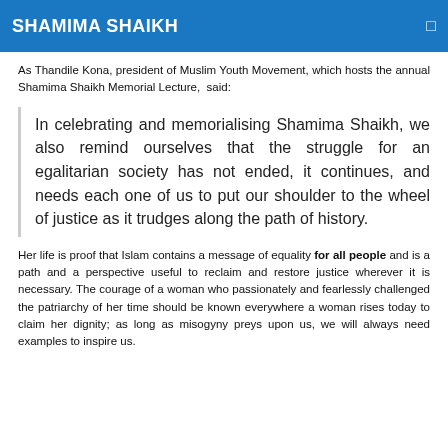SHAMIMA SHAIKH
As Thandile Kona, president of Muslim Youth Movement, which hosts the annual Shamima Shaikh Memorial Lecture, said:
In celebrating and memorialising Shamima Shaikh, we also remind ourselves that the struggle for an egalitarian society has not ended, it continues, and needs each one of us to put our shoulder to the wheel of justice as it trudges along the path of history.
Her life is proof that Islam contains a message of equality for all people and is a path and a perspective useful to reclaim and restore justice wherever it is necessary. The courage of a woman who passionately and fearlessly challenged the patriarchy of her time should be known everywhere a woman rises today to claim her dignity; as long as misogyny preys upon us, we will always need examples to inspire us.